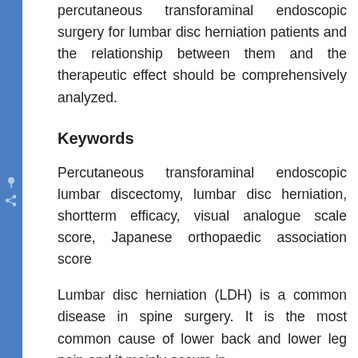percutaneous transforaminal endoscopic surgery for lumbar disc herniation patients and the relationship between them and the therapeutic effect should be comprehensively analyzed.
Keywords
Percutaneous transforaminal endoscopic lumbar discectomy, lumbar disc herniation, shortterm efficacy, visual analogue scale score, Japanese orthopaedic association score
Lumbar disc herniation (LDH) is a common disease in spine surgery. It is the most common cause of lower back and lower leg pain and it mainly occurs in